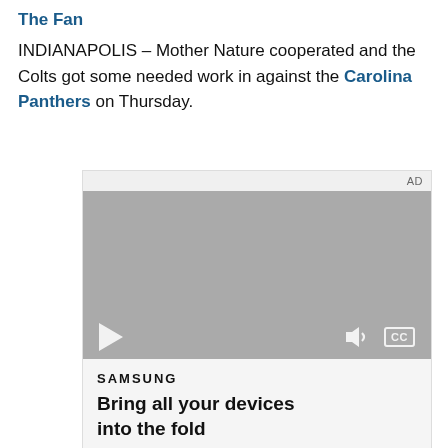The Fan
INDIANAPOLIS – Mother Nature cooperated and the Colts got some needed work in against the Carolina Panthers on Thursday.
[Figure (screenshot): An embedded video advertisement player showing a grey video area with play button, volume icon, and CC button. Below the video is a Samsung ad with the text 'SAMSUNG' and 'Bring all your devices into the fold'. An 'AD' label appears in the top right corner of the ad unit.]